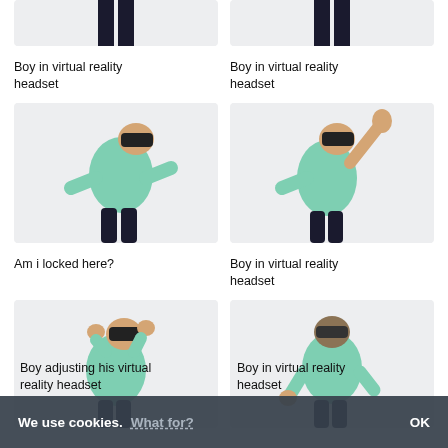[Figure (photo): Boy in virtual reality headset, upper body partially cropped, left column top row]
[Figure (photo): Boy in virtual reality headset, upper body partially cropped, right column top row]
Boy in virtual reality headset
Boy in virtual reality headset
[Figure (photo): Boy in virtual reality headset wearing green shirt, arms outstretched forward, left column middle row]
[Figure (photo): Boy in virtual reality headset wearing green shirt, right arm raised up, left hand forward, right column middle row]
Am i locked here?
Boy in virtual reality headset
[Figure (photo): Boy adjusting his virtual reality headset with hands raised near face, wearing green shirt, left column bottom row]
[Figure (photo): Boy in virtual reality headset seen from behind, wearing green shirt, right column bottom row]
Boy adjusting his virtual reality headset
Boy in virtual reality headset
We use cookies. What for? OK